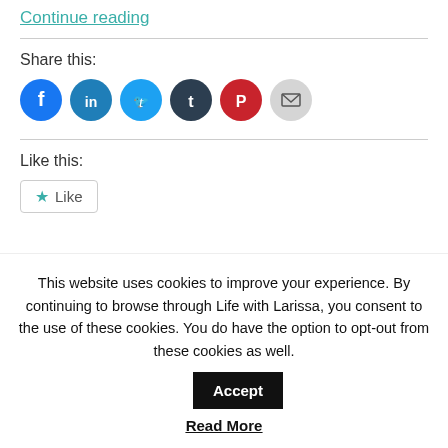Continue reading
Share this:
[Figure (other): Social share icons: Facebook (blue circle), LinkedIn (blue circle), Twitter (blue circle), Tumblr (dark circle), Pinterest (red circle), Email (gray circle)]
Like this:
[Figure (other): Like button with star icon]
This website uses cookies to improve your experience. By continuing to browse through Life with Larissa, you consent to the use of these cookies. You do have the option to opt-out from these cookies as well. Accept Read More